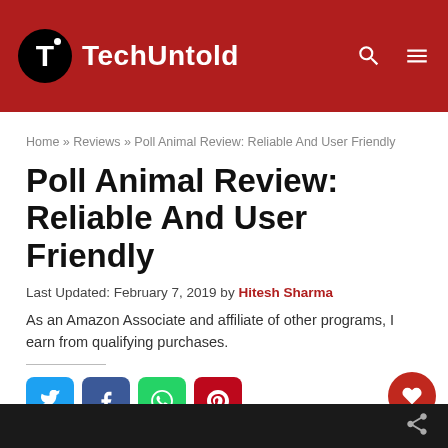TechUntold
Home » Reviews » Poll Animal Review: Reliable And User Friendly
Poll Animal Review: Reliable And User Friendly
Last Updated: February 7, 2019 by Hitesh Sharma
As an Amazon Associate and affiliate of other programs, I earn from qualifying purchases.